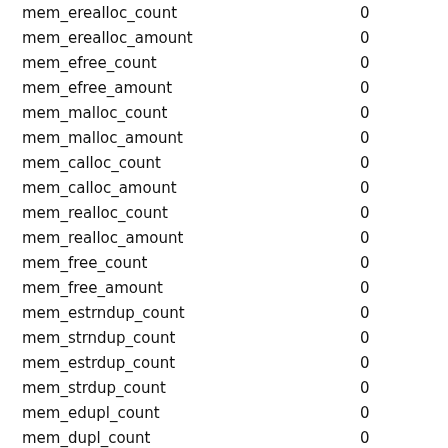| name | value |
| --- | --- |
| mem_erealloc_count | 0 |
| mem_erealloc_amount | 0 |
| mem_efree_count | 0 |
| mem_efree_amount | 0 |
| mem_malloc_count | 0 |
| mem_malloc_amount | 0 |
| mem_calloc_count | 0 |
| mem_calloc_amount | 0 |
| mem_realloc_count | 0 |
| mem_realloc_amount | 0 |
| mem_free_count | 0 |
| mem_free_amount | 0 |
| mem_estrndup_count | 0 |
| mem_strndup_count | 0 |
| mem_estrdup_count | 0 |
| mem_strdup_count | 0 |
| mem_edupl_count | 0 |
| mem_dupl_count | 0 |
| proto_text_fetched_null | 0 |
| proto_text_fetched_bit | 0 |
| proto_text_fetched_tinyint | 0 |